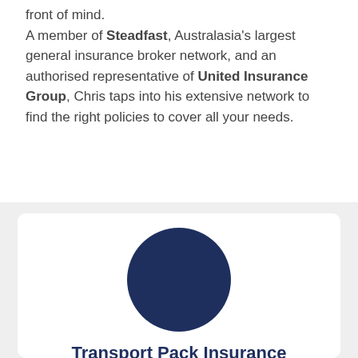front of mind. A member of Steadfast, Australasia's largest general insurance broker network, and an authorised representative of United Insurance Group, Chris taps into his extensive network to find the right policies to cover all your needs.
[Figure (illustration): Dark navy blue filled circle representing a profile photo placeholder, inside a white card with rounded corners set on a light grey background.]
Transport Pack Insurance